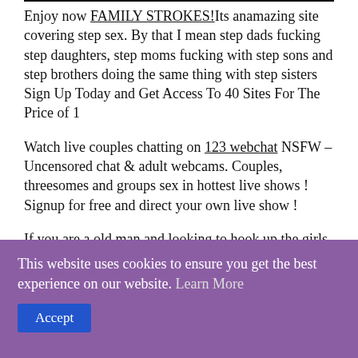Enjoy now FAMILY STROKES!Its anamazing site covering step sex. By that I mean step dads fucking step daughters, step moms fucking with step sons and step brothers doing the same thing with step sisters Sign Up Today and Get Access To 40 Sites For The Price of 1
Watch live couples chatting on 123 webchat NSFW – Uncensored chat & adult webcams. Couples, threesomes and groups sex in hottest live shows ! Signup for free and direct your own live show !
If you are a old man and looking to hook up the girls in their 20's, you must visit adult sex dating A
This website uses cookies to ensure you get the best experience on our website. Learn More Accept